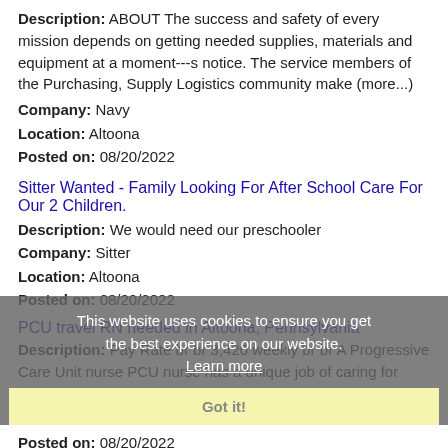Description: ABOUT The success and safety of every mission depends on getting needed supplies, materials and equipment at a moment---s notice. The service members of the Purchasing, Supply Logistics community make (more...)
Company: Navy
Location: Altoona
Posted on: 08/20/2022
Sitter Wanted - Family Looking For After School Care For Our 2 Children.
Description: We would need our preschooler
Company: Sitter
Location: Altoona
Posted on: 08/20/2022
This website uses cookies to ensure you get the best experience on our website. Learn more
Got it!
PCU travel RN needed in Altoona, Pennsylvania
Description: Pay Rate br br 3,420 weekly br br A Progressive Care Unit nurse PCU nurse has a unique job of caring for
Company: Amare Medical Network
Location: Altoona
Posted on: 08/20/2022
Salary in Pittsburgh, Pennsylvania Area | More details for Pittsburgh, Pennsylvania Jobs |Salary